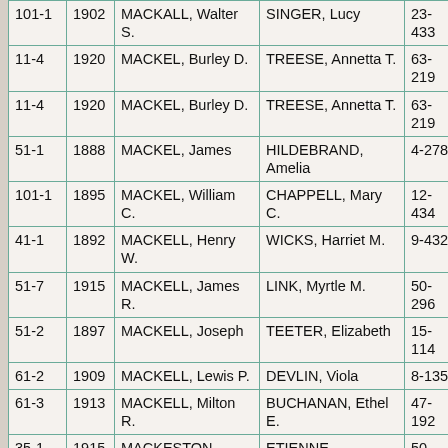|  |  | Groom | Bride |  |
| --- | --- | --- | --- | --- |
| 101-1 | 1902 | MACKALL, Walter S. | SINGER, Lucy | 23-433 |
| 11-4 | 1920 | MACKEL, Burley D. | TREESE, Annetta T. | 63-219 |
| 11-4 | 1920 | MACKEL, Burley D. | TREESE, Annetta T. | 63-219 |
| 51-1 | 1888 | MACKEL, James | HILDEBRAND, Amelia | 4-278 |
| 101-1 | 1895 | MACKEL, William C. | CHAPPELL, Mary C. | 12-434 |
| 41-1 | 1892 | MACKELL, Henry W. | WICKS, Harriet M. | 9-432 |
| 51-7 | 1915 | MACKELL, James R. | LINK, Myrtle M. | 50-296 |
| 51-2 | 1897 | MACKELL, Joseph | TEETER, Elizabeth | 15-114 |
| 61-2 | 1909 | MACKELL, Lewis P. | DEVLIN, Viola | 8-135 |
| 61-3 | 1913 | MACKELL, Milton R. | BUCHANAN, Ethel E. | 47-192 |
| 35-1 | 1915 | MACKESTON, Edward | ETIENNE, Clementine | 50-529 |
| 16-1 | 1915 | MACKEY, Andrew (or) Andy | SOVAKENA, Rosa | 52-300 |
| 16-1 | 1916 | MACKEY, Andrew (or) Andy | SOVEKENA, Rosa | 53-290 |
| 26-1 | 1909 | MACKEY, David | PERLEY, Mary E. | 26-412 |